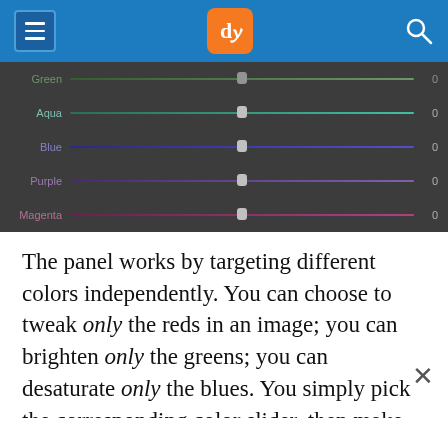dPS
[Figure (screenshot): Lightroom HSL panel showing color sliders: Green (0), Aqua (0), Blue (0), Purple (0), Magenta (0) — each with a horizontal slider track and centered thumb handle on a dark gray background.]
The panel works by targeting different colors independently. You can choose to tweak only the reds in an image; you can brighten only the greens; you can desaturate only the blues. You simply pick the corresponding color slider, then make the necessary adjustments.